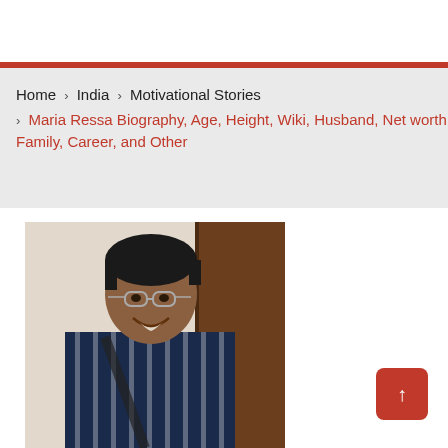Home › India › Motivational Stories › Maria Ressa Biography, Age, Height, Wiki, Husband, Net worth, Family, Career, and Other
[Figure (photo): Photo of Maria Ressa, a woman with short dark hair and glasses, wearing a navy blue striped shirt, smiling, indoors with a light wall and brown door in background]
[Figure (other): Red scroll-to-top button with upward arrow, positioned bottom right]